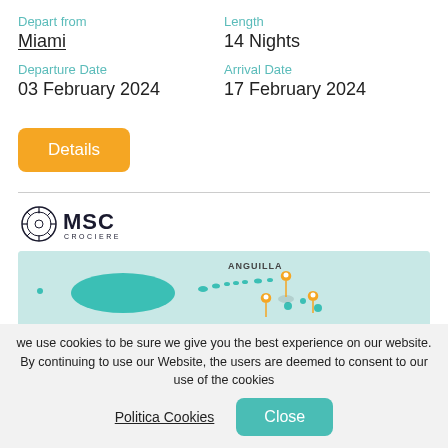Depart from
Miami
Length
14 Nights
Departure Date
03 February 2024
Arrival Date
17 February 2024
Details
[Figure (logo): MSC Crociere logo]
[Figure (map): Map showing Caribbean islands including Anguilla and Montserrat with location pins]
we use cookies to be sure we give you the best experience on our website. By continuing to use our Website, the users are deemed to consent to our use of the cookies
Politica Cookies
Close